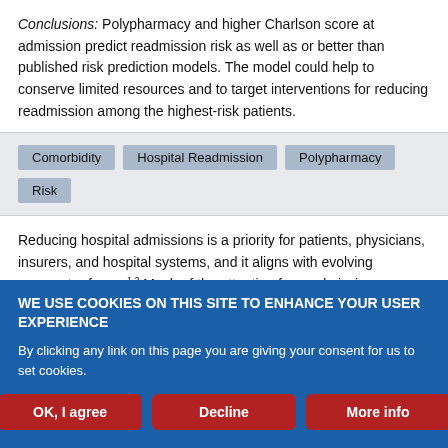Conclusions: Polypharmacy and higher Charlson score at admission predict readmission risk as well as or better than published risk prediction models. The model could help to conserve limited resources and to target interventions for reducing readmission among the highest-risk patients.
Keywords: Comorbidity, Hospital Readmission, Polypharmacy, Risk
Reducing hospital admissions is a priority for patients, physicians, insurers, and hospital systems, and it aligns with evolving payment reforms.1,2 Much of the attention for readmission reduction has
WE USE COOKIES ON THIS SITE TO ENHANCE YOUR USER EXPERIENCE

By clicking any link on this page you are giving your consent for us to set cookies.